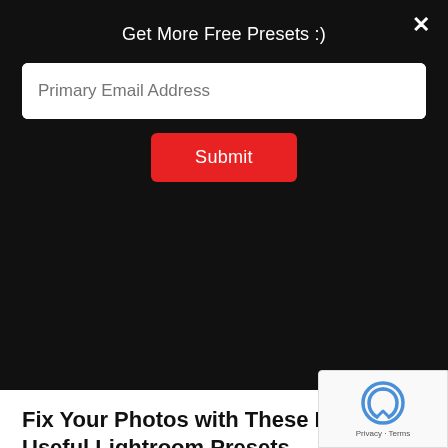Get More Free Presets :)
[Figure (screenshot): Email input field with placeholder text 'Primary Email Address' on white background]
[Figure (screenshot): Red Submit button]
[Figure (photo): Dark background hero image with text 'FIX COMMON PROBLEMS IN PHOTOGRAPHY' overlaid, showing a person in a dark jacket outdoors]
Fix Your Photos with These Free Useful Lightroom Presets
We compiled these Lightroom presets that can fix photo lighting, tones, color temperature, and several others. Wh presets are popular for setting looks on social...